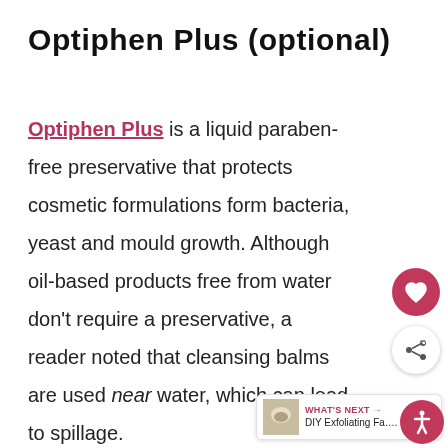Optiphen Plus (optional)
Optiphen Plus is a liquid paraben-free preservative that protects cosmetic formulations form bacteria, yeast and mould growth. Although oil-based products free from water don't require a preservative, a reader noted that cleansing balms are used near water, which can lead to spillage.